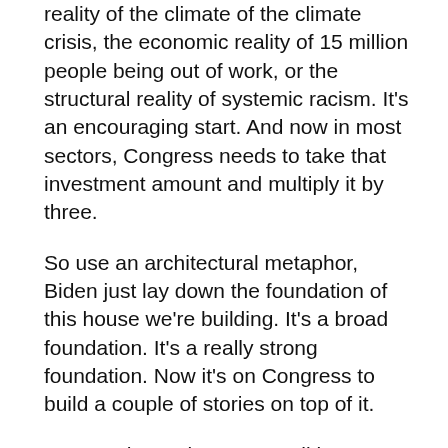reality of the climate of the climate crisis, the economic reality of 15 million people being out of work, or the structural reality of systemic racism. It's an encouraging start. And now in most sectors, Congress needs to take that investment amount and multiply it by three.
So use an architectural metaphor, Biden just lay down the foundation of this house we're building. It's a broad foundation. It's a really strong foundation. Now it's on Congress to build a couple of stories on top of it.
To see why scale matters, I'll just use a couple of examples. First electric vehicles. The American jobs plan names $174 billion for electric vehicles again,
Good start and Congress needs to go further. Senator Schumer, for example, has a clean cars for America proposal that would invest nearly three